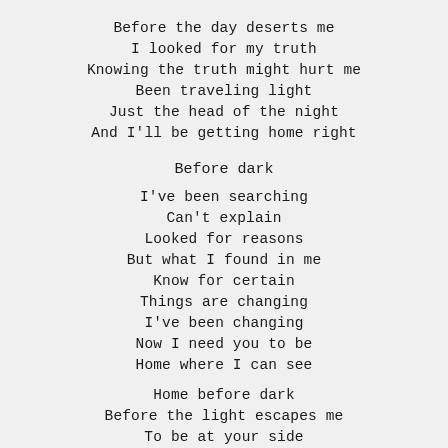Before the day deserts me
I looked for my truth
Knowing the truth might hurt me
Been traveling light
Just the head of the night
And I'll be getting home right
Before dark
I've been searching
Can't explain
Looked for reasons
But what I found in me
Know for certain
Things are changing
I've been changing
Now I need you to be
Home where I can see
Home before dark
Before the light escapes me
To be at your side